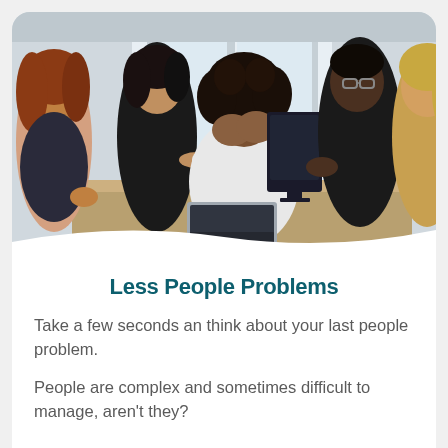[Figure (photo): A group of people sitting around a conference table in a business meeting. A woman in the center with curly hair has her face buried in her hands, appearing stressed or overwhelmed, while other colleagues around her appear to be talking or arguing.]
Less People Problems
Take a few seconds an think about your last people problem.
People are complex and sometimes difficult to manage, aren't they?